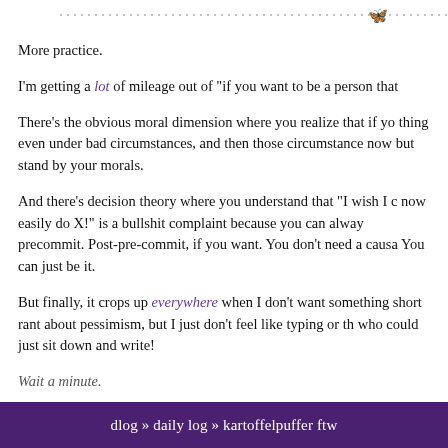[Figure (illustration): A decorative dotted horizontal line with a small butterfly/dragonfly icon near the right side]
More practice.
I'm getting a lot of mileage out of "if you want to be a person that
There's the obvious moral dimension where you realize that if yo thing even under bad circumstances, and then those circumstance now but stand by your morals.
And there's decision theory where you understand that "I wish I c now easily do X!" is a bullshit complaint because you can alway precommit. Post-pre-commit, if you want. You don't need a causa You can just be it.
But finally, it crops up everywhere when I don't want something short rant about pessimism, but I just don't feel like typing or th who could just sit down and write!
Wait a minute.
dlog » daily log » kartoffelpuffer ftw